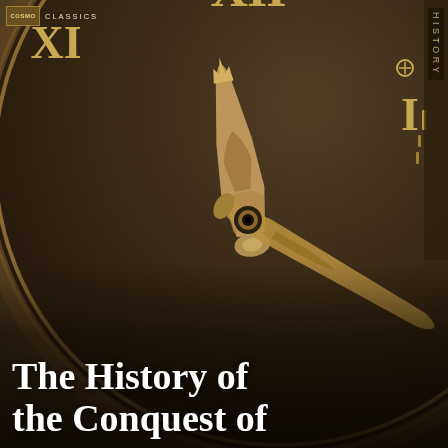[Figure (photo): Book cover of 'The History of the Conquest of' (Cosmo Classics history series). Background shows a close-up photograph of an ornate antique clock face with Roman numerals (XI, XII, I visible) in gold on a dark brown/sepia dial, with decorative brass clock hands prominently in the foreground. A 'HISTORY' label appears vertically on the right side.]
COSMO CLASSICS
The History of the Conquest of